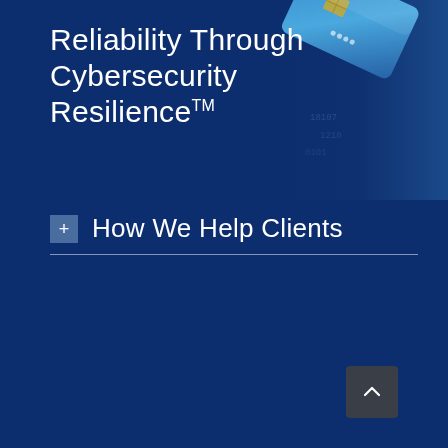[Figure (illustration): Blue cybersecurity-themed background with a credit card partially visible in the upper right corner, rendered in blue tones with digital/binary aesthetic]
Reliability Through Cybersecurity Resilience™
+ How We Help Clients